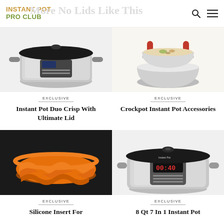INSTANT POT PRO CLUB
[Figure (photo): Instant Pot Duo Crisp pressure cooker, stainless steel body with black top, digital display panel]
EXCLUSIVE
Instant Pot Duo Crisp With Ultimate Lid
[Figure (photo): Crockpot Instant Pot accessories including a red silicone sling holding a stainless steel bowl with food, and another stainless steel insert bowl below]
EXCLUSIVE
Crockpot Instant Pot Accessories
[Figure (photo): Orange silicone insert trivet/rack for Instant Pot with wavy ridges, on dark background]
EXCLUSIVE
Silicone Insert For
[Figure (photo): 8 Qt Instant Pot pressure cooker, stainless steel with black top, red digital display showing 00:40]
EXCLUSIVE
8 Qt 7 In 1 Instant Pot